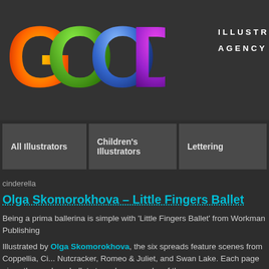[Figure (logo): GOOD Illustration Agency logo with colorful bubble letters G, O, O, D and text ILLUSTRATION AGENCY in white bold uppercase on dark background]
All Illustrators   Children's Illustrators   Lettering
cinderella
Olga Skomorokhova – Little Fingers Ballet
Being a prima ballerina is simple with 'Little Fingers Ballet' from Workman Publishing
Illustrated by Olga Skomorokhova, the six spreads feature scenes from Coppellia, Ci... Nutcracker, Romeo & Juliet, and Swan Lake. Each page gives the reader a ballet ste... choreography of the scene.